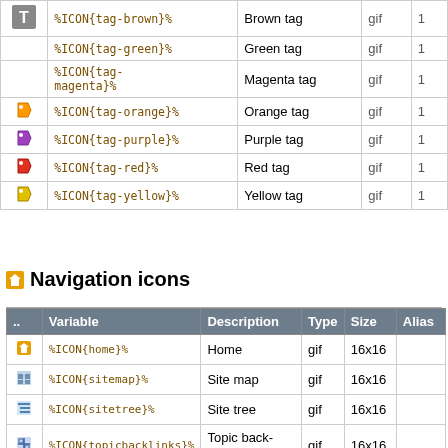|  | Variable | Description | Type |  |
| --- | --- | --- | --- | --- |
|  | %ICON{tag-brown}% | Brown tag | gif | 1 |
|  | %ICON{tag-green}% | Green tag | gif | 1 |
|  | %ICON{tag-magenta}% | Magenta tag | gif | 1 |
| [orange tag icon] | %ICON{tag-orange}% | Orange tag | gif | 1 |
| [purple tag icon] | %ICON{tag-purple}% | Purple tag | gif | 1 |
| [red tag icon] | %ICON{tag-red}% | Red tag | gif | 1 |
| [yellow tag icon] | %ICON{tag-yellow}% | Yellow tag | gif | 1 |
Navigation icons
| .. | Variable | Description | Type | Size | Alias |
| --- | --- | --- | --- | --- | --- |
| [home icon] | %ICON{home}% | Home | gif | 16x16 |  |
| [sitemap icon] | %ICON{sitemap}% | Site map | gif | 16x16 |  |
| [sitetree icon] | %ICON{sitetree}% | Site tree | gif | 16x16 |  |
| [topicbacklinks icon] | %ICON{topicbacklinks}% | Topic back-links | gif | 16x16 |  |
|  | %ICON{arrowdat}% | Meet here | gif | 16x16 |  |